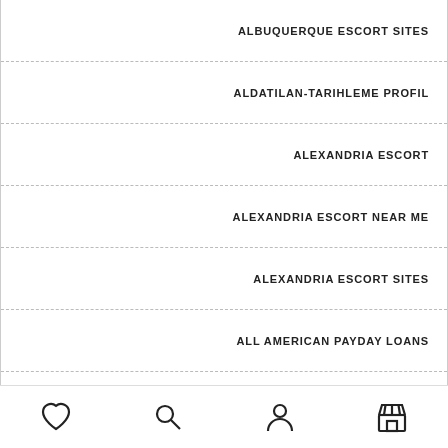ALBUQUERQUE ESCORT SITES
ALDATILAN-TARIHLEME PROFIL
ALEXANDRIA ESCORT
ALEXANDRIA ESCORT NEAR ME
ALEXANDRIA ESCORT SITES
ALL AMERICAN PAYDAY LOANS
ALLAMERICANDATING.COM DATING AFTER ۵۰
ALLEINERZIEHENDE-DATING KOSTEN
navigation bar with heart, search, person, and store icons